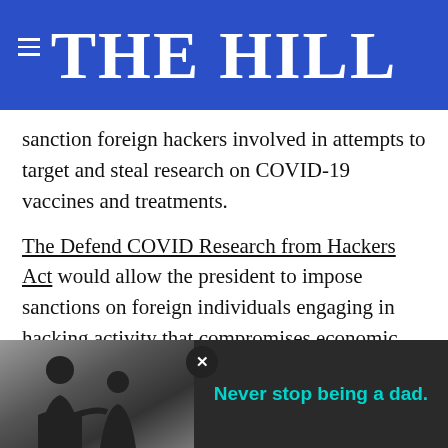THE HILL
sanction foreign hackers involved in attempts to target and steal research on COVID-19 vaccines and treatments.
The Defend COVID Research from Hackers Act would allow the president to impose sanctions on foreign individuals engaging in hacking activity that compromises economic and national security or public health and freeze any American assets of these individuals.
The bill also requires the secretary of state, in consultation with the director of national intelligence...ss
[Figure (screenshot): Advertisement overlay showing a black-and-white photo of a man and child with text 'Never stop being a dad.' in cyan on dark background, with a close (X) button]